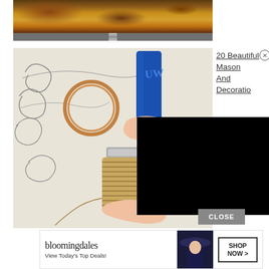[Figure (photo): Top photo showing a wooden slab surface with natural grain/burl pattern, resting on a gray base with a metal knob/peg visible in the center]
[Figure (photo): DIY mason jar craft photo showing materials on white fabric: copper ring, wire/twine, a blue tube of adhesive being held, and a jute-wrapped mason jar with someone wrapping twine around it]
20 Beautiful Mason And Decoratio
CLOSE
[Figure (photo): Bloomingdale's advertisement banner with logo, 'View Today's Top Deals!' text, woman in blue hat, and 'SHOP NOW >' button]